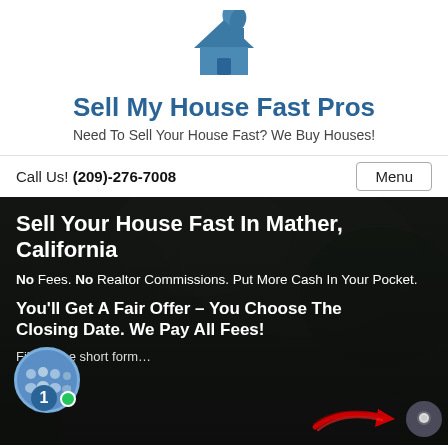[Figure (logo): Blue house icon logo with leaf/plant on top]
Sell My House Fast Pros
Need To Sell Your House Fast? We Buy Houses!
Call Us! (209)-276-7008
Menu
Sell Your House Fast In Mather, California
No Fees. No Realtor Commissions. Put More Cash In Your Pocket.
You'll Get A Fair Offer – You Choose The Closing Date. We Pay All Fees!
Fill out the short form...